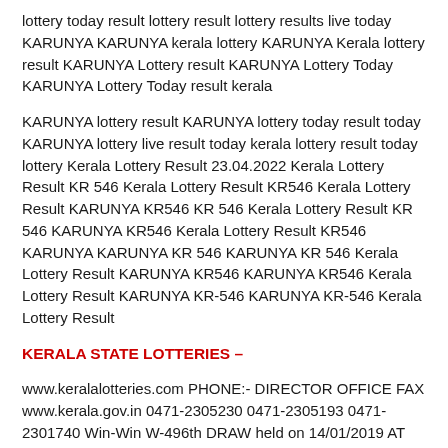lottery today result lottery result lottery results live today KARUNYA KARUNYA kerala lottery KARUNYA Kerala lottery result KARUNYA Lottery result KARUNYA Lottery Today KARUNYA Lottery Today result kerala
KARUNYA lottery result KARUNYA lottery today result today KARUNYA lottery live result today kerala lottery result today lottery Kerala Lottery Result 23.04.2022 Kerala Lottery Result KR 546 Kerala Lottery Result KR546 Kerala Lottery Result KARUNYA KR546 KR 546 Kerala Lottery Result KR 546 KARUNYA KR546 Kerala Lottery Result KR546 KARUNYA KARUNYA KR 546 KARUNYA KR 546 Kerala Lottery Result KARUNYA KR546 KARUNYA KR546 Kerala Lottery Result KARUNYA KR-546 KARUNYA KR-546 Kerala Lottery Result
KERALA STATE LOTTERIES –
www.keralalotteries.com PHONE:- DIRECTOR OFFICE FAX www.kerala.gov.in 0471-2305230 0471-2305193 0471-2301740 Win-Win W-496th DRAW held on 14/01/2019 AT GORKY BHAVAN NEAR BAKERY